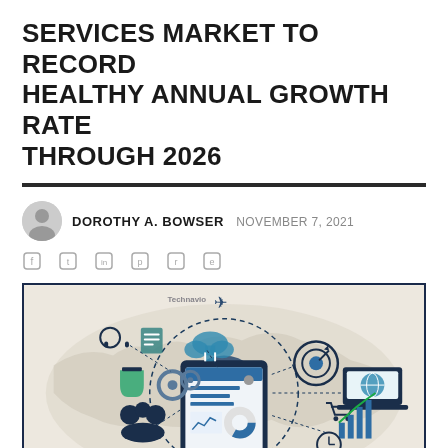SERVICES MARKET TO RECORD HEALTHY ANNUAL GROWTH RATE THROUGH 2026
DOROTHY A. BOWSER  NOVEMBER 7, 2021
[Figure (infographic): A digital marketing infographic showing a world map background with a central tablet device displaying charts and analytics, surrounded by various business and technology icons (headphones, gears, cloud, target/bullseye, laptop with globe, shopping cart, clock, bar chart, camera, megaphone, people/team icons) connected by dashed circular lines. The illustration is in a dark navy, teal, and white color scheme.]